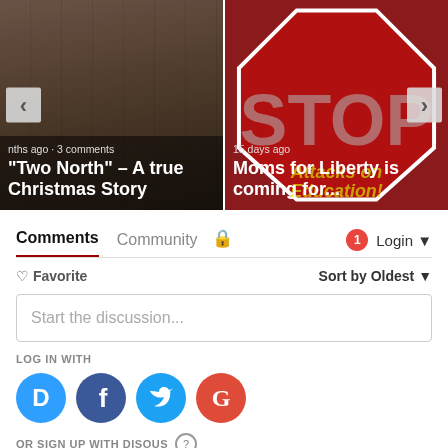[Figure (screenshot): Carousel with two article cards. Left card shows a hallway photo with text 'nths ago · 3 comments' and title '"Two North" – A true Christmas Story'. Right card shows a stop sign photo with text '15 days ago' and title 'Moms for Liberty is coming for...'. Navigation arrows on both sides.]
Comments
Community
1
Login
♡ Favorite
Sort by Oldest
Start the discussion...
LOG IN WITH
[Figure (logo): Social login icons: Disqus (blue circle with D), Facebook (dark blue circle with f), Twitter (light blue circle with bird), Google (red circle with G)]
OR SIGN UP WITH DISQUS
Name